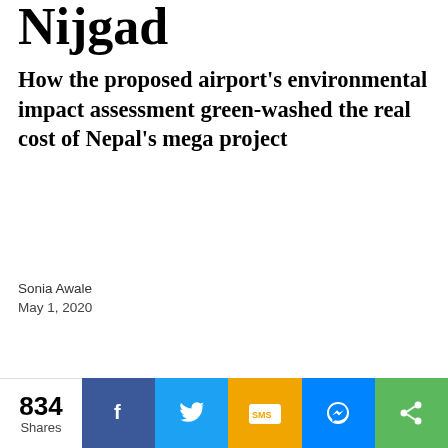Nijgad
How the proposed airport's environmental impact assessment green-washed the real cost of Nepal's mega project
Sonia Awale
May 1, 2020
[Figure (illustration): Cartoon illustration of three portly figures standing among green foliage, one holding an axe]
834 Shares